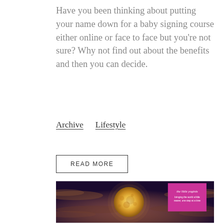Have you been thinking about putting your name down for a baby signing course either online or face to face but you're not sure? Why not find out about the benefits and then you can decide.
Archive   Lifestyle
READ MORE
[Figure (photo): Full moon in a dramatic cloudy night sky with warm golden and purple hues. A pink/magenta logo badge for 'the little yoginis' is in the upper right corner of the image.]